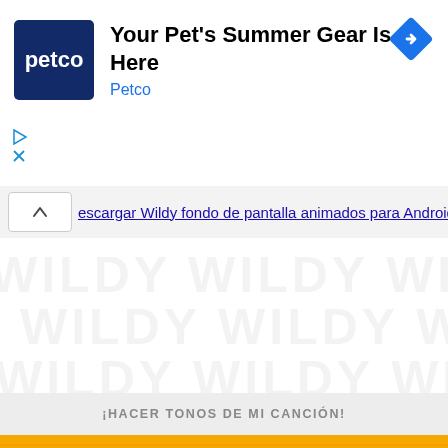[Figure (screenshot): Petco advertisement banner with navy blue Petco logo square on left, text 'Your Pet's Summer Gear Is Here' and 'Petco' below, and blue navigation diamond icon on right]
escargar Wildy fondo de pantalla animados para Android.
¡HACER TONOS DE MI CANCIÓN!
10 mejores artistas